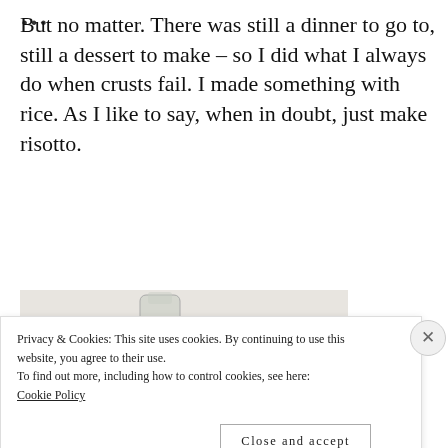But no matter. There was still a dinner to go to, still a dessert to make – so I did what I always do when crusts fail. I made something with rice. As I like to say, when in doubt, just make risotto.
[Figure (photo): Partial photo of a glass bottle and some items on a surface, partially obscured by a cookie consent banner.]
Privacy & Cookies: This site uses cookies. By continuing to use this website, you agree to their use.
To find out more, including how to control cookies, see here:
Cookie Policy
Close and accept